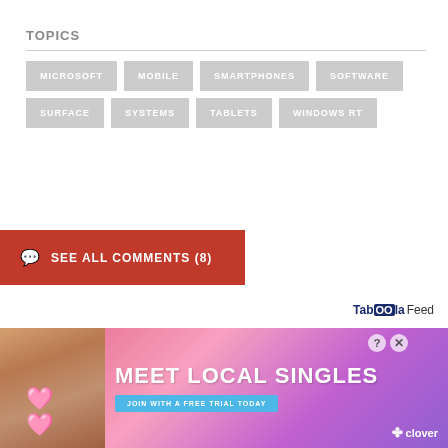TOPICS
MICROSOFT
MOBILE
SMARTPHONES
SOFTWARE
SURFACE
SYSTEMS
TABLETS
WINDOWS RT
SEE ALL COMMENTS (8)
Taboola Feed
[Figure (photo): Advertisement banner for Clover dating app reading MEET LOCAL SINGLES with a photo of a woman and heart emojis, JOIN WITH A FREE TRIAL TODAY button]